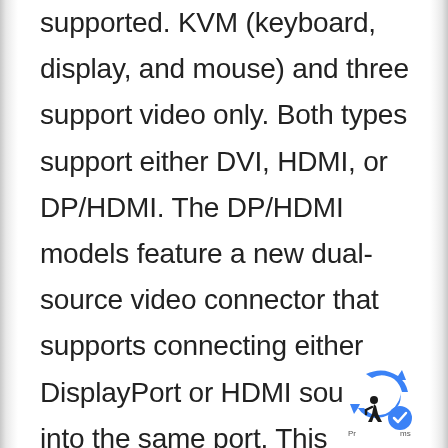supported. KVM (keyboard, display, and mouse) and three support video only. Both types support either DVI, HDMI, or DP/HDMI. The DP/HDMI models feature a new dual-source video connector that supports connecting either DisplayPort or HDMI sources into the same port. This eliminates the need for adaptors and converters when making video connections. The dual-source feature is available on
[Figure (logo): Accessibility and privacy/cookie consent badge in bottom-right corner showing a wheelchair accessibility icon with a blue checkmark and the text 'Pr' and 'ms' partially visible.]